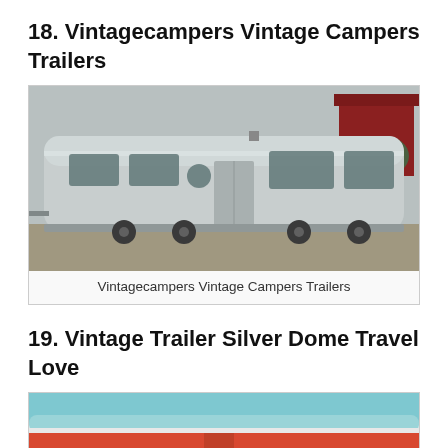18. Vintagecampers Vintage Campers Trailers
[Figure (photo): A large silver/aluminum vintage camper trailer parked on a gravel lot outdoors, with a red barn visible in the background.]
Vintagecampers Vintage Campers Trailers
19. Vintage Trailer Silver Dome Travel Love
[Figure (photo): Partial view of a vintage trailer with teal/turquoise top and red/orange lower body, partially cropped at the bottom of the page.]